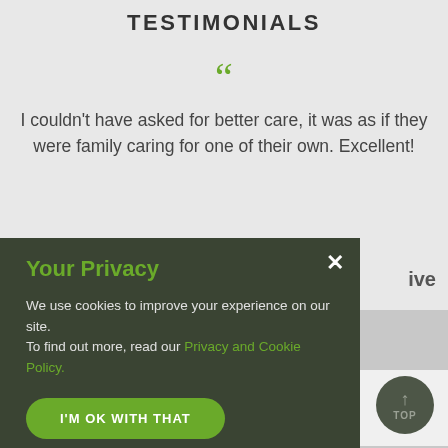TESTIMONIALS
I couldn't have asked for better care, it was as if they were family caring for one of their own. Excellent!
Your Privacy
We use cookies to improve your experience on our site. To find out more, read our Privacy and Cookie Policy.
I'M OK WITH THAT
OPTIONS